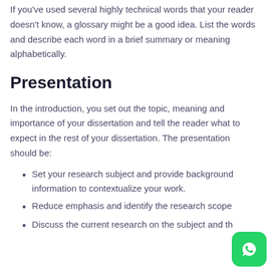If you've used several highly technical words that your reader doesn't know, a glossary might be a good idea. List the words and describe each word in a brief summary or meaning alphabetically.
Presentation
In the introduction, you set out the topic, meaning and importance of your dissertation and tell the reader what to expect in the rest of your dissertation. The presentation should be:
Set your research subject and provide background information to contextualize your work.
Reduce emphasis and identify the research scope
Discuss the current research on the subject and th